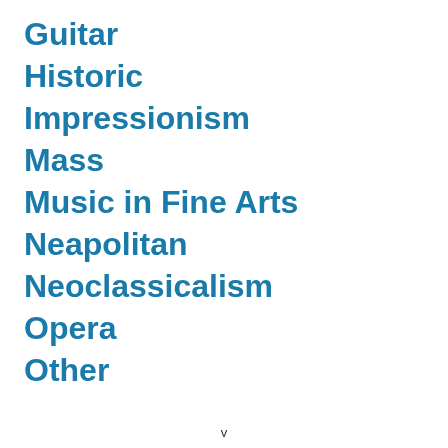Guitar
Historic
Impressionism
Mass
Music in Fine Arts
Neapolitan
Neoclassicalism
Opera
Other
v